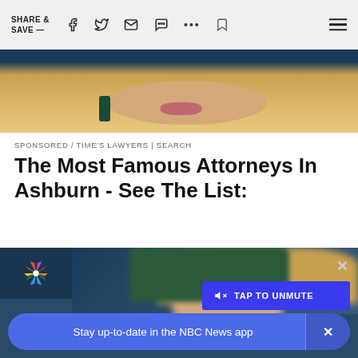SHARE & SAVE —
[Figure (photo): Partial close-up photo of a blonde woman's face showing lips and decorative earring against a dark background]
SPONSORED / TIME'S LAWYERS | SEARCH
The Most Famous Attorneys In Ashburn - See The List:
[Figure (screenshot): NBC News video player showing blurred blonde woman. Overlay shows TAP TO UNMUTE button in blue and NBC News app banner at bottom reading 'Stay up-to-date in the NBC News app']